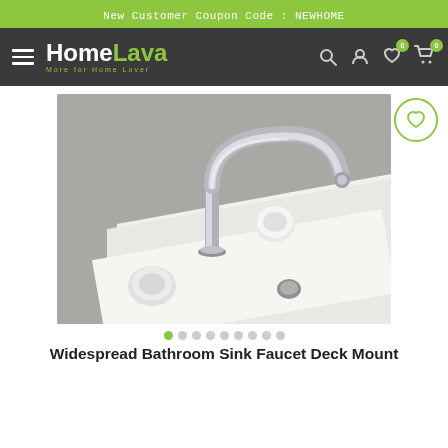New Customer Coupon Code : NEWHOME
[Figure (logo): HomeLava logo with tagline 'More for Home Lover' on dark navigation bar with hamburger menu and icons]
[Figure (photo): Widespread bathroom sink faucet deck mount product photo showing chrome/silver faucet spout with handles on white sink surface, gray marble background]
Widespread Bathroom Sink Faucet Deck Mount